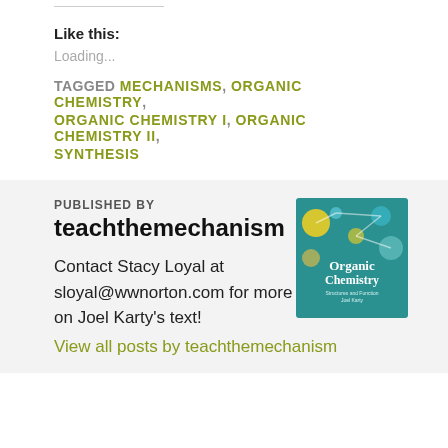Like this:
Loading...
TAGGED MECHANISMS, ORGANIC CHEMISTRY, ORGANIC CHEMISTRY I, ORGANIC CHEMISTRY II, SYNTHESIS
PUBLISHED BY
teachthemechanism
[Figure (illustration): Book cover for Organic Chemistry by Joel Karty, teal background with molecular structure illustrations]
Contact Stacy Loyal at sloyal@wwnorton.com for more information on Joel Karty's text!
View all posts by teachthemechanism